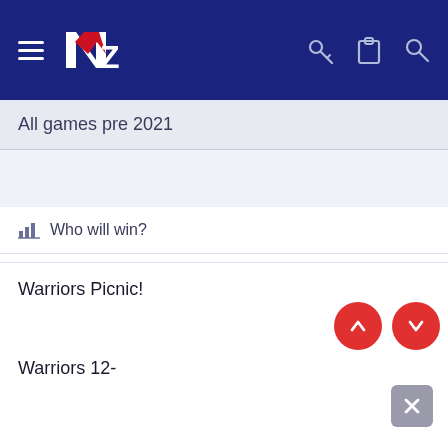[Figure (screenshot): NZ Warriors website navigation bar with hamburger menu, NZ Warriors logo, and icons for key, clipboard, and search on dark navy background]
All games pre 2021
Who will win?
Warriors Picnic!
Warriors 12-
[Figure (illustration): Red circle button with upward arrow icon]
[Figure (illustration): Red circle button with downward arrow icon]
[Figure (illustration): Grey square button with X/close icon]